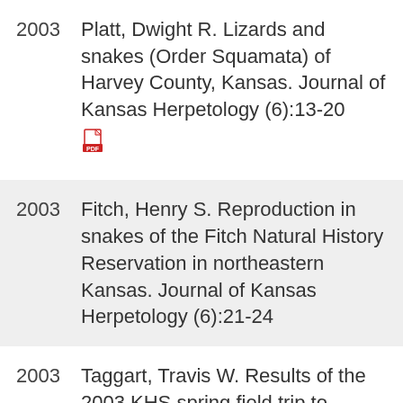2003  Platt, Dwight R. Lizards and snakes (Order Squamata) of Harvey County, Kansas. Journal of Kansas Herpetology (6):13-20 [PDF]
2003  Fitch, Henry S. Reproduction in snakes of the Fitch Natural History Reservation in northeastern Kansas. Journal of Kansas Herpetology (6):21-24
2003  Taggart, Travis W. Results of the 2003 KHS spring field trip to Wilson County. Journal of Kansas Herpetology (6):2-5
2003  Miller, Larry L. Sumner County